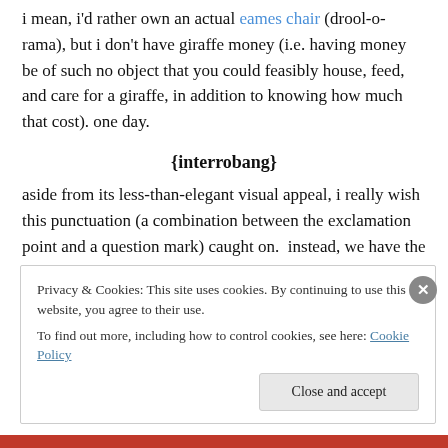i mean, i'd rather own an actual eames chair (drool-o-rama), but i don't have giraffe money (i.e. having money be of such no object that you could feasibly house, feed, and care for a giraffe, in addition to knowing how much that cost). one day.
{interrobang}
aside from its less-than-elegant visual appeal, i really wish this punctuation (a combination between the exclamation point and a question mark) caught on.  instead, we have the hyperbolic ?!?!?. so clunky.
Privacy & Cookies: This site uses cookies. By continuing to use this website, you agree to their use.
To find out more, including how to control cookies, see here: Cookie Policy
Close and accept